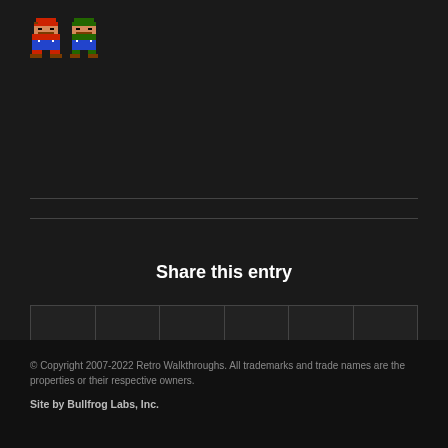[Figure (illustration): Two pixel art sprites: a Mario-like character in red and a Luigi-like character in green, displayed in the top-left corner]
Share this entry
[Figure (infographic): A row of six social share buttons with icons: Facebook (f), Twitter (bird), WhatsApp, Pinterest (p), Reddit, and Email (envelope)]
© Copyright 2007-2022 Retro Walkthroughs. All trademarks and trade names are the properties or their respective owners.
Site by Bullfrog Labs, Inc.